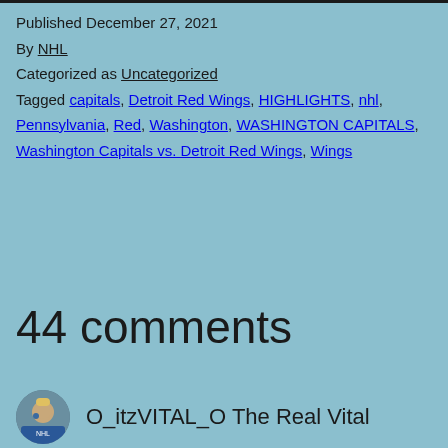Published December 27, 2021
By NHL
Categorized as Uncategorized
Tagged capitals, Detroit Red Wings, HIGHLIGHTS, nhl, Pennsylvania, Red, Washington, WASHINGTON CAPITALS, Washington Capitals vs. Detroit Red Wings, Wings
44 comments
O_itzVITAL_O The Real Vital